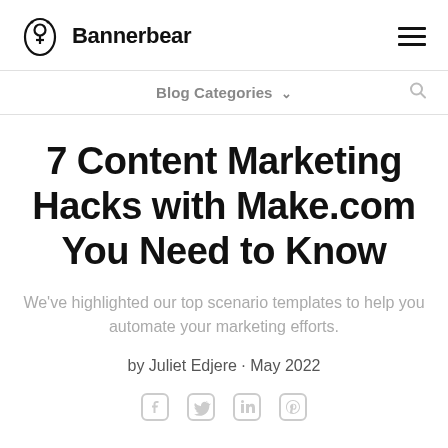Bannerbear
Blog Categories
7 Content Marketing Hacks with Make.com You Need to Know
We've highlighted our top scenario templates to help you automate your marketing efforts.
by Juliet Edjere · May 2022
[Figure (other): Social media share icons: Facebook, Twitter, LinkedIn, Pinterest]